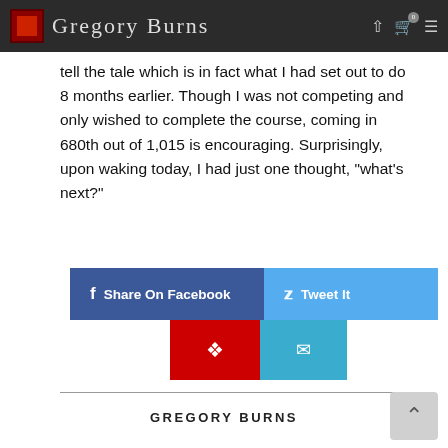Gregory Burns
tell the tale which is in fact what I had set out to do 8 months earlier. Though I was not competing and only wished to complete the course, coming in 680th out of 1,015 is encouraging. Surprisingly, upon waking today, I had just one thought, "what's next?"
[Figure (infographic): Social sharing buttons: Share On Facebook (dark blue), Tweet It (light blue), Pinterest (red pin icon), Email (teal envelope icon)]
GREGORY BURNS